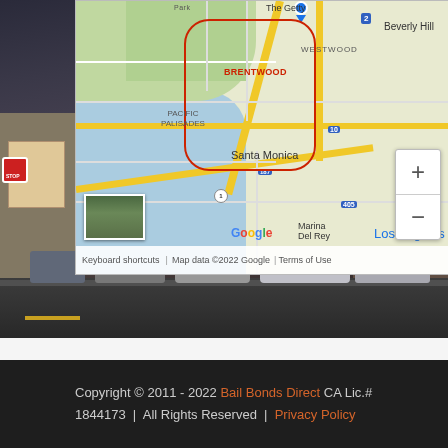[Figure (map): Google Maps showing the Brentwood, Pacific Palisades, Santa Monica, Westwood, Beverly Hills, Marina Del Rey, and Los Angeles area in California. Includes zoom controls (+/-) and a street view thumbnail. Map footer shows keyboard shortcuts, map data ©2022 Google, and Terms of Use.]
[Figure (photo): Street-level photograph of a commercial district showing parked cars along a road with buildings on either side, taken in overcast/dusk conditions.]
Copyright © 2011 - 2022 Bail Bonds Direct CA Lic.# 1844173 | All Rights Reserved | Privacy Policy